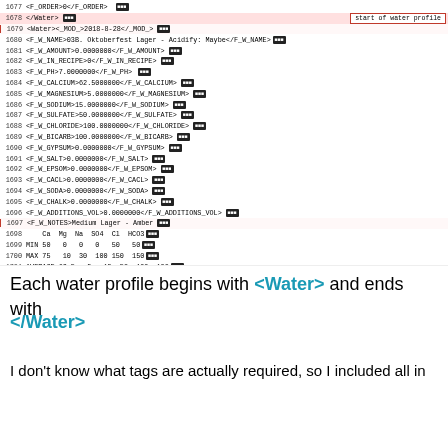[Figure (screenshot): Screenshot of XML code showing water profile entries with line numbers 1677-1712, red callout boxes labeled 'start of water profile' and 'End of water profile', and black badge annotations on each line.]
Each water profile begins with <Water> and ends with </Water>
I don't know what tags are actually required, so I included all in